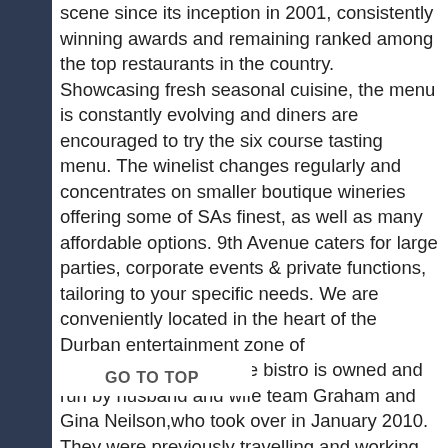scene since its inception in 2001, consistently winning awards and remaining ranked among the top restaurants in the country. Showcasing fresh seasonal cuisine, the menu is constantly evolving and diners are encouraged to try the six course tasting menu. The winelist changes regularly and concentrates on smaller boutique wineries offering some of SAs finest, as well as many affordable options. 9th Avenue caters for large parties, corporate events & private functions, tailoring to your specific needs. We are conveniently located in the heart of the Durban entertainment zone of Morningside.9th Avenue bistro is owned and run by husband and wife team Graham and Gina Neilson,who took over in January 2010. They were previously travelling and working in top establishments through the US, the UK, Bermuda, South America and the Kwa-Zulu Natal Midlands. It has been their mission to create a modern, warm and unpretentious venue in the heart of Morningside, Durban, serving fresh and creative cuisine with an emphasison high quality seasonal ingredients. Graham and his team in the kitchen strive for perfection with every plate whilst the front of house delivers smooth, knowledgeable service.The cafe-style cuisine is fresh, unc very creatively